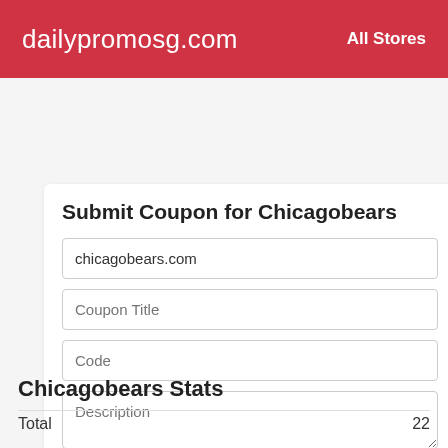dailypromosg.com   All Stores
Submit Coupon for Chicagobears
chicagobears.com
Coupon Title
Code
Description
Expiration
Submit
Chicagobears Stats
Total   22